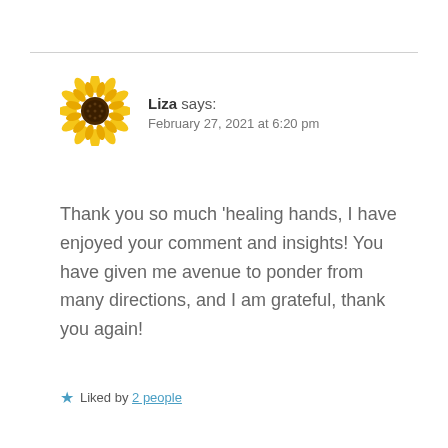[Figure (illustration): Sunflower emoji avatar image]
Liza says: February 27, 2021 at 6:20 pm
Thank you so much 'healing hands, I have enjoyed your comment and insights! You have given me avenue to ponder from many directions, and I am grateful, thank you again!
Liked by 2 people